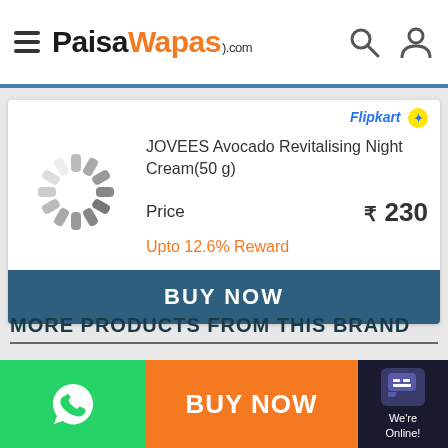PaisaWapas.com
JOVEES Avocado Revitalising Night Cream(50 g)
Price ₹ 230
Upto 12.6% Reward
BUY NOW
MORE PRODUCTS FROM THIS BRAND
BUY NOW
We're Online!